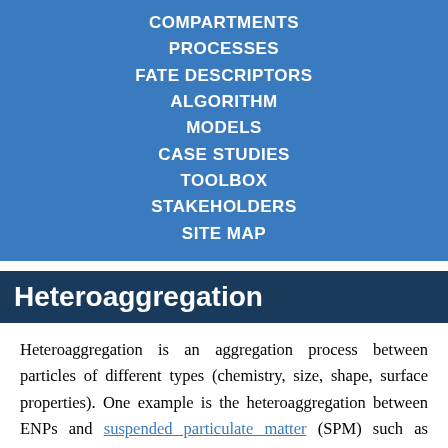COMPARTMENTS
PROCESSES
FATE DESCRIPTORS
ALGORITHM
MODELS
CASE STUDIES
TOOLBOX
STAKEHOLDERS
SITE MAP
Heteroaggregation
Heteroaggregation is an aggregation process between particles of different types (chemistry, size, shape, surface properties). One example is the heteroaggregation between ENPs and suspended particulate matter (SPM) such as inorganic colloids or/and natural